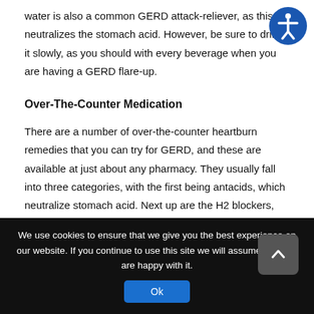water is also a common GERD attack-reliever, as this neutralizes the stomach acid. However, be sure to drink it slowly, as you should with every beverage when you are having a GERD flare-up.
Over-The-Counter Medication
There are a number of over-the-counter heartburn remedies that you can try for GERD, and these are available at just about any pharmacy. They usually fall into three categories, with the first being antacids, which neutralize stomach acid. Next up are the H2 blockers, which limits the amount of acid that your stomach is able to produce, while your final option is
We use cookies to ensure that we give you the best experience on our website. If you continue to use this site we will assume that you are happy with it.